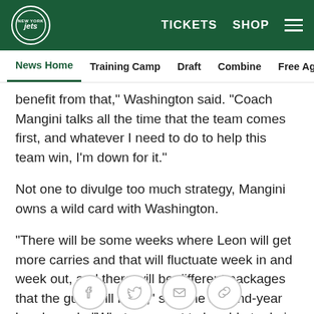NY Jets — TICKETS  SHOP
News Home  Training Camp  Draft  Combine  Free Agency  Fe
benefit from that," Washington said. "Coach Mangini talks all the time that the team comes first, and whatever I need to do to help this team win, I'm down for it."
Not one to divulge too much strategy, Mangini owns a wild card with Washington.
"There will be some weeks where Leon will get more carries and that will fluctuate week in and week out, and there will be different packages that the guys will be in," said the second-year head coach. "What you want to be able to do is have the flexibility to adjust to